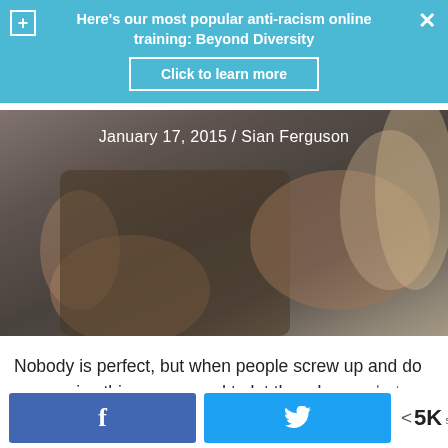Here's our most popular anti-racism online training: Beyond Diversity
Click to learn more
[Figure (photo): Blurred close-up photo of a person in a brown jacket making hand gestures, with another person partially visible. Date overlay reads: January 17, 2015 / Sian Ferguson]
January 17, 2015 / Sian Ferguson
Nobody is perfect, but when people screw up and do oppressive things, we need to let them know what they did was wrong
< 5K SHARES